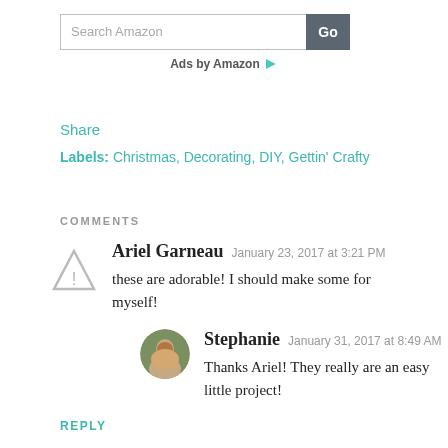[Figure (screenshot): Amazon search bar with text input 'Search Amazon' and a gray 'Go' button]
Ads by Amazon ▷
Share
Labels: Christmas, Decorating, DIY, Gettin' Crafty
COMMENTS
Ariel Garneau  January 23, 2017 at 3:21 PM
these are adorable! I should make some for myself!
Stephanie  January 31, 2017 at 8:49 AM
Thanks Ariel! They really are an easy little project!
REPLY